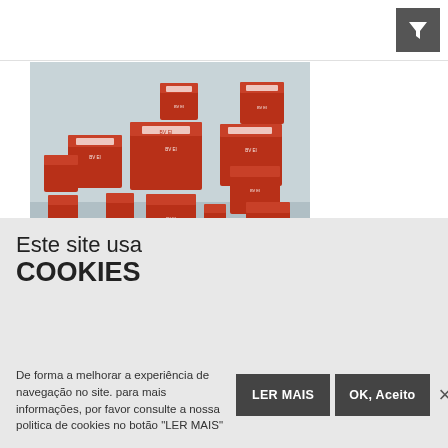[Figure (photo): Multiple orange/red encapsulated transformers of various sizes arranged on a light blue-grey surface. The transformers are rectangular, potted in red/orange epoxy with white labeling.]
Este site usa COOKIES
De forma a melhorar a experiência de navegação no site. para mais informações, por favor consulte a nossa politica de cookies no botão "LER MAIS"